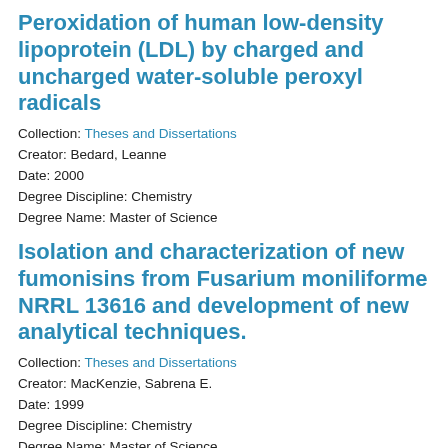Peroxidation of human low-density lipoprotein (LDL) by charged and uncharged water-soluble peroxyl radicals
Collection: Theses and Dissertations
Creator: Bedard, Leanne
Date: 2000
Degree Discipline: Chemistry
Degree Name: Master of Science
Isolation and characterization of new fumonisins from Fusarium moniliforme NRRL 13616 and development of new analytical techniques.
Collection: Theses and Dissertations
Creator: MacKenzie, Sabrena E.
Date: 1999
Degree Discipline: Chemistry
Degree Name: Master of Science